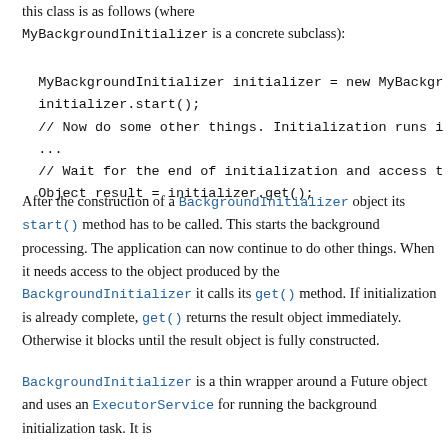this class is as follows (where MyBackgroundInitializer is a concrete subclass):
MyBackgroundInitializer initializer = new MyBackgr
  initializer.start();
  // Now do some other things. Initialization runs i
  ...
  // Wait for the end of initialization and access t
  Object result = initializer.get();
After the construction of a BackgroundInitializer object its start() method has to be called. This starts the background processing. The application can now continue to do other things. When it needs access to the object produced by the BackgroundInitializer it calls its get() method. If initialization is already complete, get() returns the result object immediately. Otherwise it blocks until the result object is fully constructed.
BackgroundInitializer is a thin wrapper around a Future object and uses an ExecutorService for running the background initialization task. It is